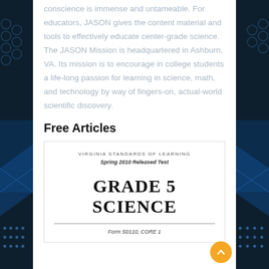conscience is immense and untameable. For educators, JASON gives the content material and tools to effectively educate center-grade science. The JASON Mission is headquartered in Ashburn, VA. Its mission is to encourage in college students a life-long passion for learning in science, math, and technology by way of fingers-on, actual-world scientific discovery.
Free Articles
[Figure (other): Virginia Standards of Learning Spring 2010 Released Test document cover showing GRADE 5 SCIENCE, Form S0110, CORE 1]